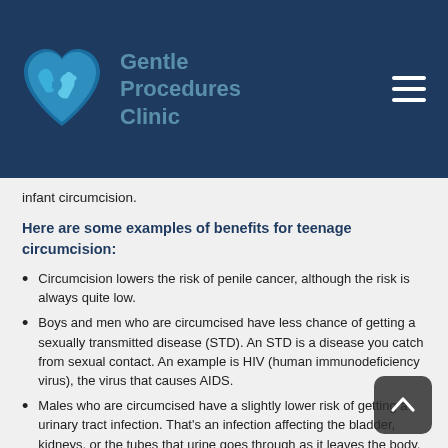[Figure (logo): Gentle Procedures Clinic logo — blue heart shape with two hands inside, clinic name in teal/grey-blue text, hamburger menu icon top right, all on dark navy background]
infant circumcision.
Here are some examples of benefits for teenage circumcision:
Circumcision lowers the risk of penile cancer, although the risk is always quite low.
Boys and men who are circumcised have less chance of getting a sexually transmitted disease (STD). An STD is a disease you catch from sexual contact. An example is HIV (human immunodeficiency virus), the virus that causes AIDS.
Males who are circumcised have a slightly lower risk of getting a urinary tract infection. That's an infection affecting the bladder, kidneys, or the tubes that urine goes through as it leaves the body.
If you're circumcised, there's no worry that you'll get an